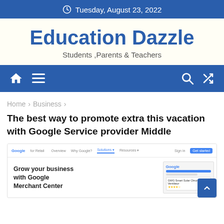Tuesday, August 23, 2022
Education Dazzle
Students ,Parents & Teachers
[Figure (screenshot): Navigation bar with home icon, hamburger menu, search icon, and shuffle icon on blue background]
Home › Business ›
The best way to promote extra this vacation with Google Service provider Middle
[Figure (screenshot): Screenshot of Google for Retail website showing navigation bar with Overview, Why Google, Solutions, Resources links and a Sign in button and Get started button. Content shows 'Grow your business with Google Merchant Center' with a Google interface mockup on the right.]